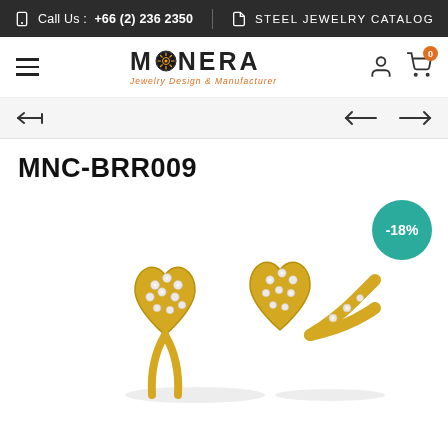Call Us :  +66 (2) 236 2350  |  STEEL JEWELRY CATALOG
[Figure (logo): Monera Jewelry Design & Manufacturer logo with sun/compass icon]
[Figure (other): Navigation controls: hamburger menu, back arrow, left/right navigation arrows]
MNC-BRR009
[Figure (photo): Two gold heart-shaped rings with crystal/diamond pave settings, shown side by side. A teal circular badge shows -18% discount.]